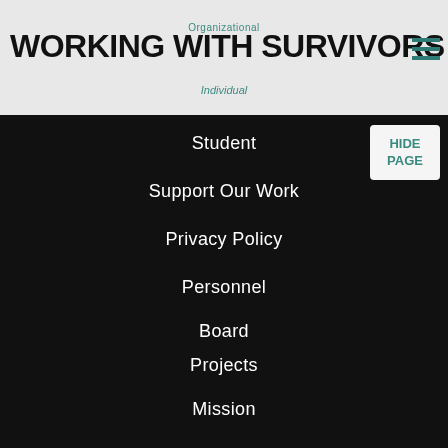Organizational
WORKING WITH SURVIVORS
Individual
Student
Support Our Work
Privacy Policy
Personnel
Board
Team
WCSAP
Projects
Mission
History